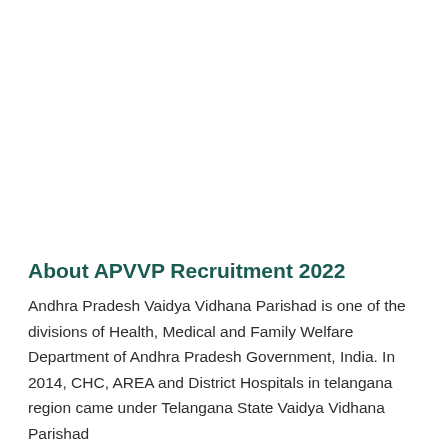About APVVP Recruitment 2022
Andhra Pradesh Vaidya Vidhana Parishad is one of the divisions of Health, Medical and Family Welfare Department of Andhra Pradesh Government, India. In 2014, CHC, AREA and District Hospitals in telangana region came under Telangana State Vaidya Vidhana Parishad